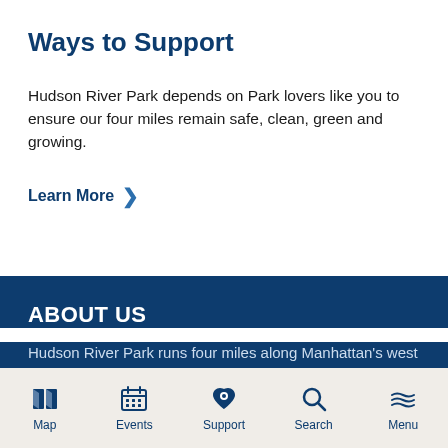Ways to Support
Hudson River Park depends on Park lovers like you to ensure our four miles remain safe, clean, green and growing.
Learn More
ABOUT US
Hudson River Park runs four miles along Manhattan's west side attracting over 17 million visits each year. The
Map  Events  Support  Search  Menu